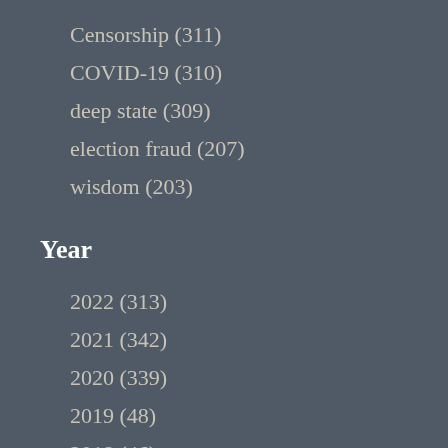Censorship (311)
COVID-19 (310)
deep state (309)
election fraud (207)
wisdom (203)
Year
2022 (313)
2021 (342)
2020 (339)
2019 (48)
2018 (46)